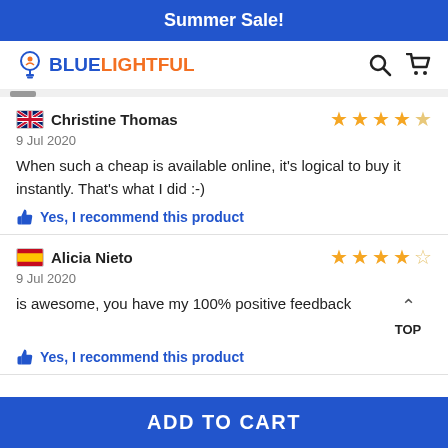Summer Sale!
[Figure (logo): BlueLightful logo with lightbulb icon, search icon, and cart icon in header]
Christine Thomas — 9 Jul 2020 — 4 stars — When such a cheap is available online, it's logical to buy it instantly. That's what I did :-) — Yes, I recommend this product
Alicia Nieto — 9 Jul 2020 — 4 stars — is awesome, you have my 100% positive feedback — Yes, I recommend this product
ADD TO CART